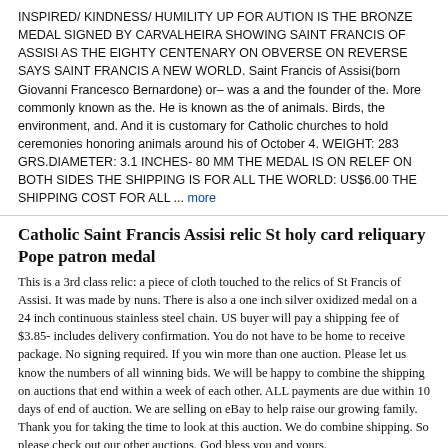INSPIRED/ KINDNESS/ HUMILITY UP FOR AUTION IS THE BRONZE MEDAL SIGNED BY CARVALHEIRA SHOWING SAINT FRANCIS OF ASSISI AS THE EIGHTY CENTENARY ON OBVERSE ON REVERSE SAYS SAINT FRANCIS A NEW WORLD. Saint Francis of Assisi(born Giovanni Francesco Bernardone) or– was a and the founder of the. More commonly known as the. He is known as the of animals. Birds, the environment, and. And it is customary for Catholic churches to hold ceremonies honoring animals around his of October 4. WEIGHT: 283 GRS.DIAMETER: 3.1 INCHES- 80 MM THE MEDAL IS ON RELEF ON BOTH SIDES THE SHIPPING IS FOR ALL THE WORLD: US$6.00 THE SHIPPING COST FOR ALL ... more
Catholic Saint Francis Assisi relic St holy card reliquary Pope patron medal
This is a 3rd class relic: a piece of cloth touched to the relics of St Francis of Assisi. It was made by nuns. There is also a one inch silver oxidized medal on a 24 inch continuous stainless steel chain. US buyer will pay a shipping fee of $3.85- includes delivery confirmation. You do not have to be home to receive package. No signing required. If you win more than one auction. Please let us know the numbers of all winning bids. We will be happy to combine the shipping on auctions that end within a week of each other. ALL payments are due within 10 days of end of auction. We are selling on eBay to help raise our growing family. Thank you for taking the time to look at this auction. We do combine shipping. So please check out our other auctions. God bless you and yours.
Reluctant Saint : The Life of Francis of Assisi by Donald